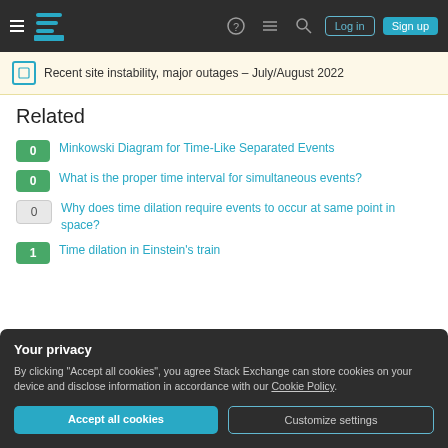Stack Exchange navigation bar with Log in and Sign up buttons
Recent site instability, major outages – July/August 2022
Related
0  Minkowski Diagram for Time-Like Separated Events
0  What is the proper time interval for simultaneous events?
0  Why does time dilation require events to occur at same point in space?
1  Time dilation in Einstein's train
Your privacy
By clicking "Accept all cookies", you agree Stack Exchange can store cookies on your device and disclose information in accordance with our Cookie Policy.
Accept all cookies  Customize settings